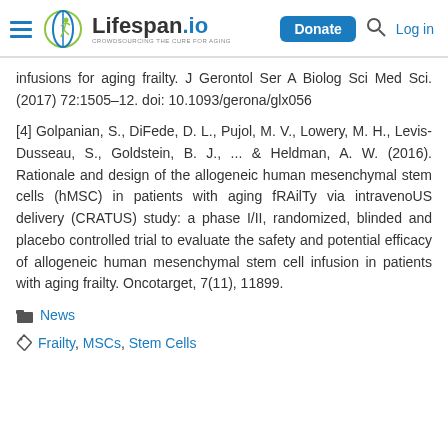Lifespan.io — Donate | Search | Log in
infusions for aging frailty. J Gerontol Ser A Biolog Sci Med Sci. (2017) 72:1505–12. doi: 10.1093/gerona/glx056
[4] Golpanian, S., DiFede, D. L., Pujol, M. V., Lowery, M. H., Levis-Dusseau, S., Goldstein, B. J., ... & Heldman, A. W. (2016). Rationale and design of the allogeneic human mesenchymal stem cells (hMSC) in patients with aging fRAilTy via intravenoUS delivery (CRATUS) study: a phase I/II, randomized, blinded and placebo controlled trial to evaluate the safety and potential efficacy of allogeneic human mesenchymal stem cell infusion in patients with aging frailty. Oncotarget, 7(11), 11899.
News
Frailty, MSCs, Stem Cells